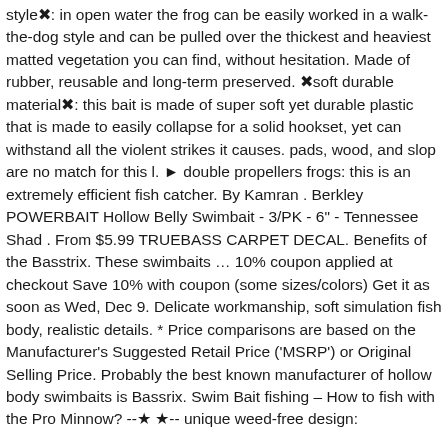style✦: in open water the frog can be easily worked in a walk-the-dog style and can be pulled over the thickest and heaviest matted vegetation you can find, without hesitation. Made of rubber, reusable and long-term preserved. ✦soft durable material✦: this bait is made of super soft yet durable plastic that is made to easily collapse for a solid hookset, yet can withstand all the violent strikes it causes. pads, wood, and slop are no match for this l. ▶ double propellers frogs: this is an extremely efficient fish catcher. By Kamran . Berkley POWERBAIT Hollow Belly Swimbait - 3/PK - 6" - Tennessee Shad . From $5.99 TRUEBASS CARPET DECAL. Benefits of the Basstrix. These swimbaits … 10% coupon applied at checkout Save 10% with coupon (some sizes/colors) Get it as soon as Wed, Dec 9. Delicate workmanship, soft simulation fish body, realistic details. * Price comparisons are based on the Manufacturer's Suggested Retail Price ('MSRP') or Original Selling Price. Probably the best known manufacturer of hollow body swimbaits is Bassrix. Swim Bait fishing – How to fish with the Pro Minnow? --★ ★-- unique weed-free design: